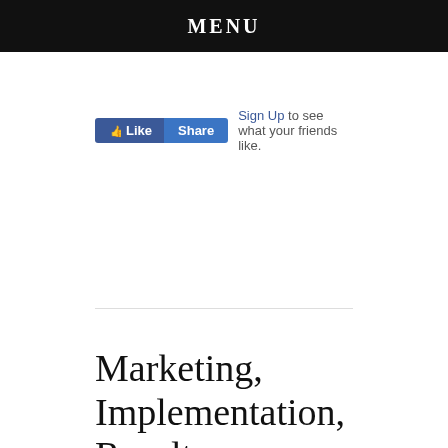MENU
[Figure (screenshot): Facebook Like and Share buttons with 'Sign Up to see what your friends like.' text]
Marketing, Implementation, Results
February 9, 2015
[Figure (photo): Green foliage thumbnail image with partial text 'WesternFiction.com' or similar]